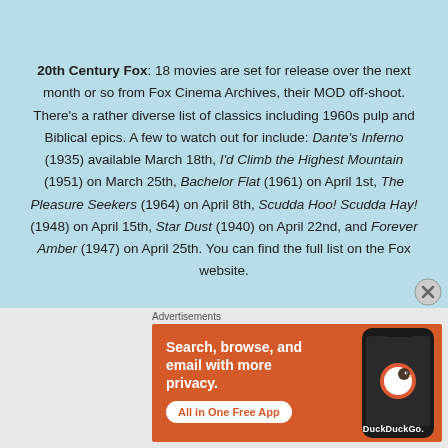20th Century Fox: 18 movies are set for release over the next month or so from Fox Cinema Archives, their MOD off-shoot. There's a rather diverse list of classics including 1960s pulp and Biblical epics. A few to watch out for include: Dante's Inferno (1935) available March 18th, I'd Climb the Highest Mountain (1951) on March 25th, Bachelor Flat (1961) on April 1st, The Pleasure Seekers (1964) on April 8th, Scudda Hoo! Scudda Hay! (1948) on April 15th, Star Dust (1940) on April 22nd, and Forever Amber (1947) on April 25th. You can find the full list on the Fox website.
[Figure (other): DuckDuckGo advertisement banner: orange background with white text 'Search, browse, and email with more privacy.' and 'All in One Free App' button, with a smartphone mockup showing the DuckDuckGo logo]